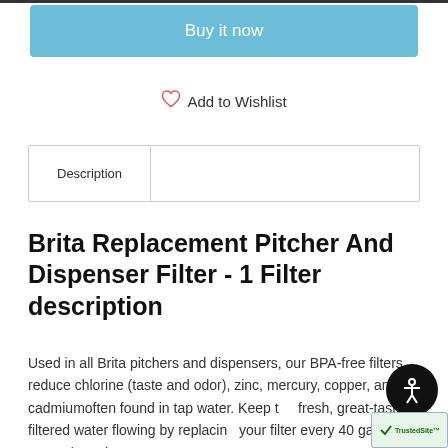Buy it now
Add to Wishlist
Description
Brita Replacement Pitcher And Dispenser Filter - 1 Filter description
Used in all Brita pitchers and dispensers, our BPA-free filters reduce chlorine (taste and odor), zinc, mercury, copper, and cadmiumoften found in tap water. Keep the fresh, great-tasting filtered water flowing by replacing your filter every 40 gallons or approximately ever